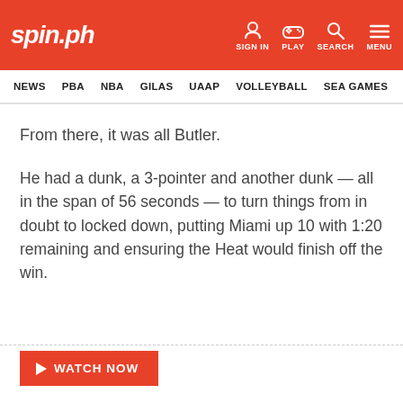spin.ph — SIGN IN | PLAY | SEARCH | MENU
NEWS | PBA | NBA | GILAS | UAAP | VOLLEYBALL | SEA GAMES
From there, it was all Butler.
He had a dunk, a 3-pointer and another dunk — all in the span of 56 seconds — to turn things from in doubt to locked down, putting Miami up 10 with 1:20 remaining and ensuring the Heat would finish off the win.
WATCH NOW